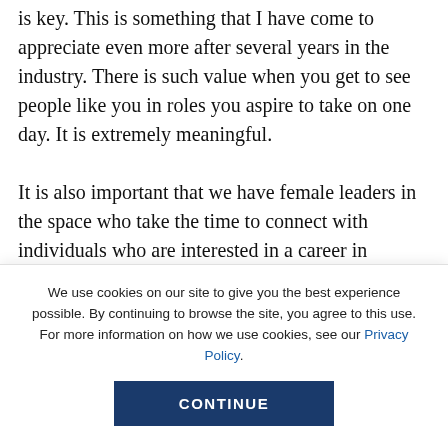is key. This is something that I have come to appreciate even more after several years in the industry. There is such value when you get to see people like you in roles you aspire to take on one day. It is extremely meaningful.

It is also important that we have female leaders in the space who take the time to connect with individuals who are interested in a career in STEM. The Motorola day of learning that I attended as a teenager really had
We use cookies on our site to give you the best experience possible. By continuing to browse the site, you agree to this use. For more information on how we use cookies, see our Privacy Policy.
CONTINUE